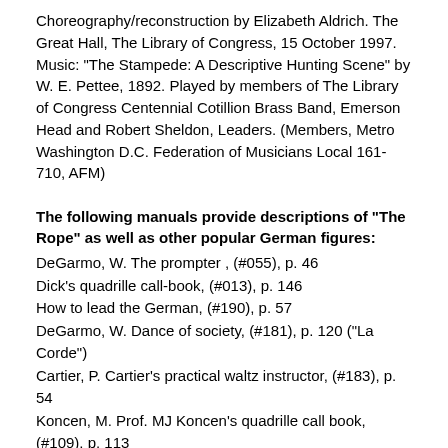Choreography/reconstruction by Elizabeth Aldrich. The Great Hall, The Library of Congress, 15 October 1997. Music: "The Stampede: A Descriptive Hunting Scene" by W. E. Pettee, 1892. Played by members of The Library of Congress Centennial Cotillion Brass Band, Emerson Head and Robert Sheldon, Leaders. (Members, Metro Washington D.C. Federation of Musicians Local 161-710, AFM)
The following manuals provide descriptions of "The Rope" as well as other popular German figures:
DeGarmo, W. The prompter , (#055), p. 46
Dick's quadrille call-book, (#013), p. 146
How to lead the German, (#190), p. 57
DeGarmo, W. Dance of society, (#181), p. 120 ("La Corde")
Cartier, P. Cartier's practical waltz instructor, (#183), p. 54
Koncen, M. Prof. MJ Koncen's quadrille call book, (#109), p. 113
Brookes, L. Brookes on modern dancing, (#027), p. 74 ("La Corde")